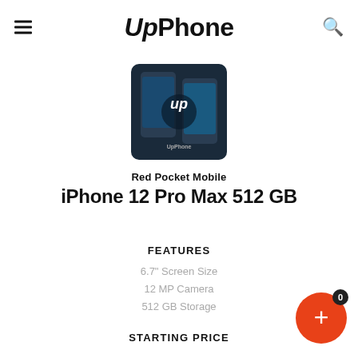UpPhone
[Figure (photo): Product image of iPhone 12 Pro Max with UpPhone branding overlay showing two phones and the UpPhone logo]
Red Pocket Mobile
iPhone 12 Pro Max 512 GB
FEATURES
6.7" Screen Size
12 MP Camera
512 GB Storage
STARTING PRICE